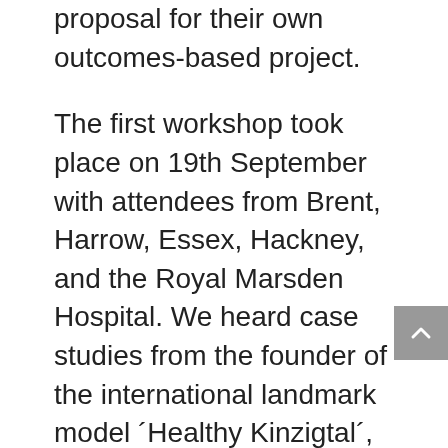proposal for their own outcomes-based project.
The first workshop took place on 19th September with attendees from Brent, Harrow, Essex, Hackney, and the Royal Marsden Hospital. We heard case studies from the founder of the international landmark model ´Healthy Kinzigtal´, Helmut Hildebrand, and the Chief Executive of COBIC, Dr Nicholas Hicks, as well as background on health commissioning in the UK and population needs analysis by IFIC's Dr Nick Goodwin